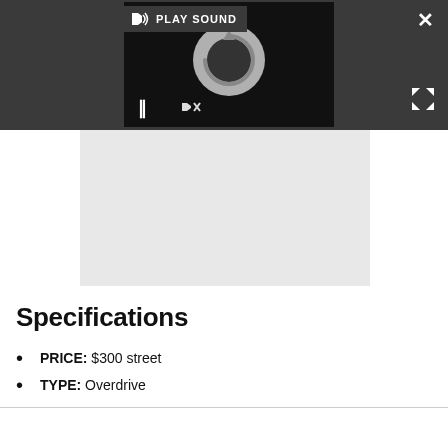[Figure (screenshot): Dark toolbar/overlay with a media player showing a loading spinner circle, pause button, play sound button with speaker icon, close X button, and expand arrows icon.]
[Figure (photo): Gray rectangular media/image area below the video player overlay.]
Specifications
PRICE: $300 street
TYPE: Overdrive